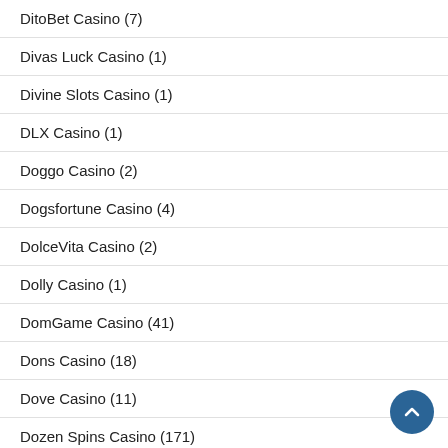DitoBet Casino (7)
Divas Luck Casino (1)
Divine Slots Casino (1)
DLX Casino (1)
Doggo Casino (2)
Dogsfortune Casino (4)
DolceVita Casino (2)
Dolly Casino (1)
DomGame Casino (41)
Dons Casino (18)
Dove Casino (11)
Dozen Spins Casino (171)
Dr Slot Casino (3)
Drake Casino (1,320)